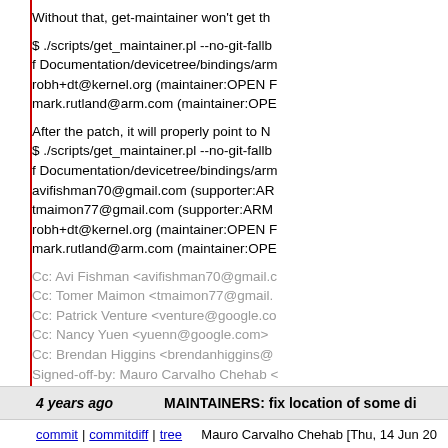Without that, get-maintainer won't get th
$ ./scripts/get_maintainer.pl --no-git-fallb
f Documentation/devicetree/bindings/arm
robh+dt@kernel.org (maintainer:OPEN F
mark.rutland@arm.com (maintainer:OPE
After the patch, it will properly point to N
$ ./scripts/get_maintainer.pl --no-git-fallb
f Documentation/devicetree/bindings/arm
avifishman70@gmail.com (supporter:AR
tmaimon77@gmail.com (supporter:ARM
robh+dt@kernel.org (maintainer:OPEN F
mark.rutland@arm.com (maintainer:OPE
Cc: Avi Fishman <avifishman70@gmail.c
Cc: Tomer Maimon <tmaimon77@gmail.
Cc: Patrick Venture <venture@google.co
Cc: Nancy Yuen <yuenn@google.com>
Cc: Brendan Higgins <brendanhiggins@
Signed-off-by: Mauro Carvalho Chehab <
Acked-by: Jonathan Corbet <corbet@lw
4 years ago
MAINTAINERS: fix location of some di
commit | commitdiff | tree
Mauro Carvalho Chehab [Thu, 14 Jun 20